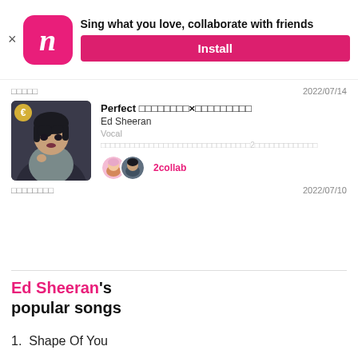[Figure (screenshot): App advertisement banner for Smule/Neon karaoke app with pink icon showing italic n, tagline and install button]
□□□□□  2022/07/14
[Figure (photo): Anime-style illustration of a dark-haired person used as song cover art with a gold badge]
Perfect □□□□□□□□×□□□□□□□□□
Ed Sheeran
Vocal
□□□□□□□□□□□□□□□□□□□□□□□□□□□□□□□2□□□□□□□□□□□□□
2collab
□□□□□□□□  2022/07/10
Ed Sheeran's popular songs
1.  Shape Of You
2.  Thinking Out Loud
3.  Perfect